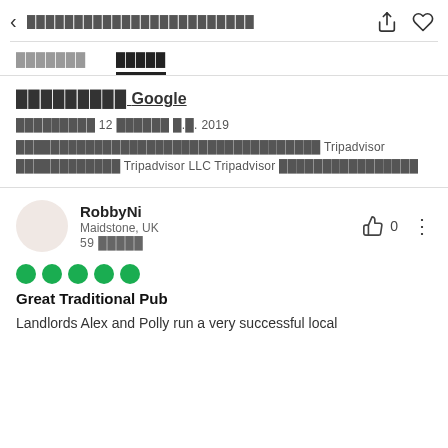< ████████████████████████
█████████   █████
(tab navigation, second tab active)
█████████ Google
█████████ 12 ██████ ค.ค. 2019
███████████████████████████████ Tripadvisor ████████████ Tripadvisor LLC Tripadvisor ████████████████
RobbyNi
Maidstone, UK
59 █████
👍 0
●●●●●
Great Traditional Pub
Landlords Alex and Polly run a very successful local